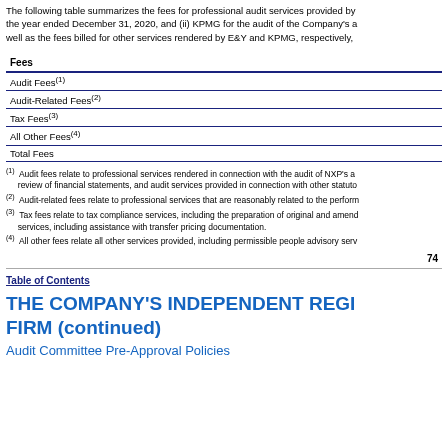The following table summarizes the fees for professional audit services provided by the year ended December 31, 2020, and (ii) KPMG for the audit of the Company's a well as the fees billed for other services rendered by E&Y and KPMG, respectively,
| Fees |
| --- |
| Audit Fees(1) |
| Audit-Related Fees(2) |
| Tax Fees(3) |
| All Other Fees(4) |
| Total Fees |
(1) Audit fees relate to professional services rendered in connection with the audit of NXP's a review of financial statements, and audit services provided in connection with other statuto
(2) Audit-related fees relate to professional services that are reasonably related to the perform
(3) Tax fees relate to tax compliance services, including the preparation of original and amend services, including assistance with transfer pricing documentation.
(4) All other fees relate all other services provided, including permissible people advisory serv
74
Table of Contents
THE COMPANY'S INDEPENDENT REGI FIRM (continued)
Audit Committee Pre-Approval Policies